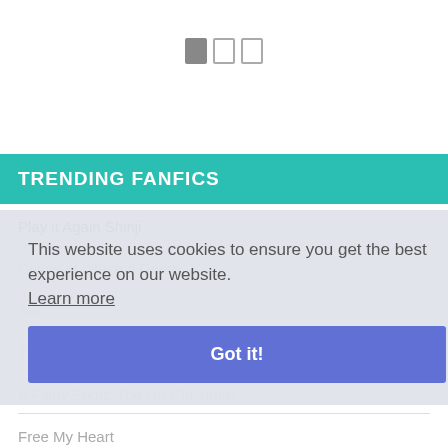[Figure (other): Pagination dots indicator with three squares, first one active/filled]
TRENDING FANFICS
Play it Again Shinji
Colors of Life and Death
Sai...
The Cancer a Girl...
A Fairly Short: The Un-Christmas
Free My Heart
This website uses cookies to ensure you get the best experience on our website. Learn more
Got it!